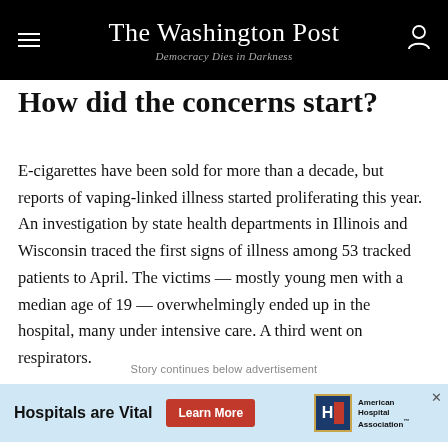The Washington Post
Democracy Dies in Darkness
How did the concerns start?
E-cigarettes have been sold for more than a decade, but reports of vaping-linked illness started proliferating this year. An investigation by state health departments in Illinois and Wisconsin traced the first signs of illness among 53 tracked patients to April. The victims — mostly young men with a median age of 19 — overwhelmingly ended up in the hospital, many under intensive care. A third went on respirators.
Story continues below advertisement
[Figure (other): Advertisement banner: Hospitals are Vital. Learn More button. American Hospital Association logo.]